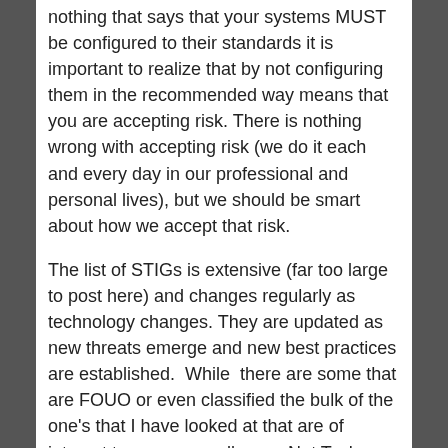nothing that says that your systems MUST be configured to their standards it is important to realize that by not configuring them in the recommended way means that you are accepting risk. There is nothing wrong with accepting risk (we do it each and every day in our professional and personal lives), but we should be smart about how we accept that risk.
The list of STIGs is extensive (far too large to post here) and changes regularly as technology changes. They are updated as new threats emerge and new best practices are established. While there are some that are FOUO or even classified the bulk of the one's that I have looked at that are of interest to me personally as a Net Tech are actually available for public distribution and don't even require PKI to view. All of this is accessible by going to DISA's Information Assurance Support Environment (IASE)